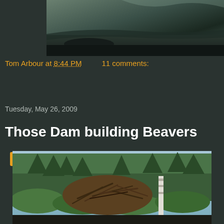[Figure (photo): Top portion of a photo showing a view from inside a car, dashboard and windshield visible, dark tones]
Tom Arbour at 8:44 PM    11 comments:
Share
Tuesday, May 26, 2009
Those Dam building Beavers
[Figure (photo): Outdoor photo of a large beaver dam made of sticks and logs, surrounded by green shrubs and trees in a forest setting]